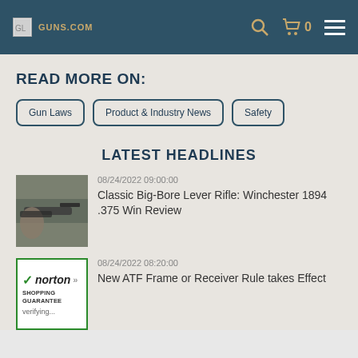GUNS.COM navigation bar with logo, search, cart (0), and menu
READ MORE ON:
Gun Laws
Product & Industry News
Safety
LATEST HEADLINES
[Figure (photo): Person holding and aiming a lever-action rifle outdoors]
08/24/2022 09:00:00
Classic Big-Bore Lever Rifle: Winchester 1894 .375 Win Review
[Figure (logo): Norton Shopping Guarantee badge with checkmark, verifying...]
08/24/2022 08:20:00
New ATF Frame or Receiver Rule takes Effect